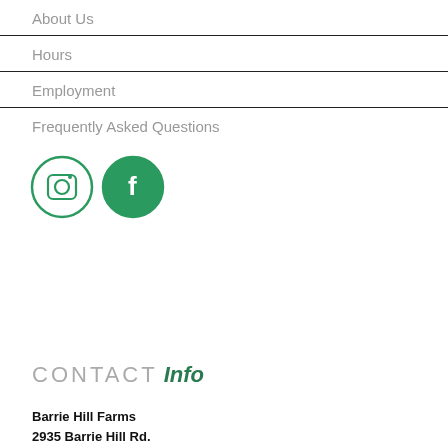About Us
Hours
Employment
Frequently Asked Questions
[Figure (illustration): Two circular social media icons: Instagram (camera icon) and Facebook (f icon), both in teal/green outline style]
CONTACT Info
Barrie Hill Farms
2935 Barrie Hill Rd.